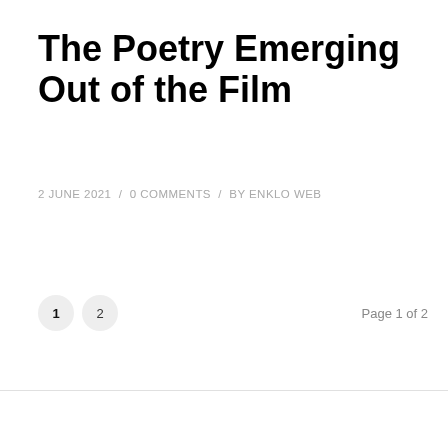The Poetry Emerging Out of the Film
2 JUNE 2021 / 0 COMMENTS / BY ENKLO WEB
1 2 Page 1 of 2